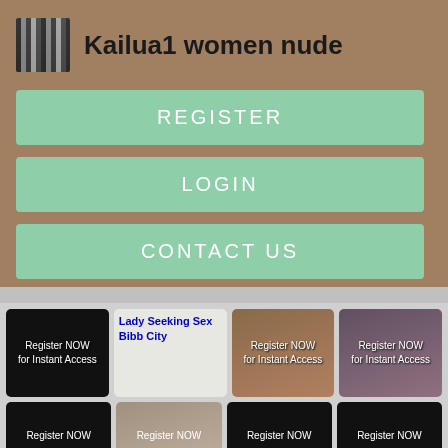Kailua1 women nude
REGISTER
LOGIN
CONTACT US
[Figure (screenshot): Lady Seeking Sex Bibb City - linked image with blue text]
[Figure (photo): Grid of thumbnail images with 'Register NOW for Instant Access' overlays on dark/photo backgrounds]
Register NOW for Instant Access
Register NOW for Instant Access
Register NOW for Instant Access
Register NOW
Register NOW
Register NOW
Register NOW